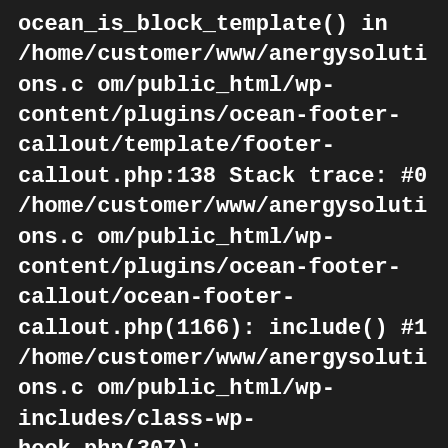ocean_is_block_template() in /home/customer/www/anergysolutions.com/public_html/wp-content/plugins/ocean-footer-callout/template/footer-callout.php:138 Stack trace: #0 /home/customer/www/anergysolutions.com/public_html/wp-content/plugins/ocean-footer-callout/ocean-footer-callout.php(1166): include() #1 /home/customer/www/anergysolutions.com/public_html/wp-includes/class-wp-hook.php(307): Ocean_Footer_Callout-